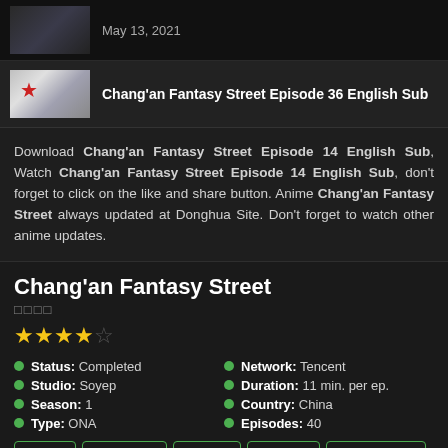May 13, 2021
Chang'an Fantasy Street Episode 36 English Sub
Download Chang'an Fantasy Street Episode 14 English Sub, Watch Chang'an Fantasy Street Episode 14 English Sub, don't forget to click on the like and share button. Anime Chang'an Fantasy Street always updated at Donghua Site. Don't forget to watch other anime updates.
Chang'an Fantasy Street
□□□□
[Figure (illustration): Star rating: 3.5 out of 5 stars (4 filled/half stars, 1 empty)]
Status: Completed
Network: Tencent
Studio: Soyep
Duration: 11 min. per ep.
Season: 1
Country: China
Type: ONA
Episodes: 40
Action
Adventure
Demon
Fantasy
Supernatural
In the first year of Zhengguan, the people of the human race, led by Tianxuan, the clan of the clan, greatly promoted the art of Fang, and